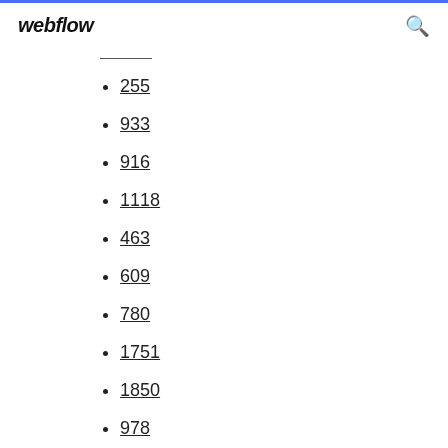webflow
255
933
916
1118
463
609
780
1751
1850
978
675
40